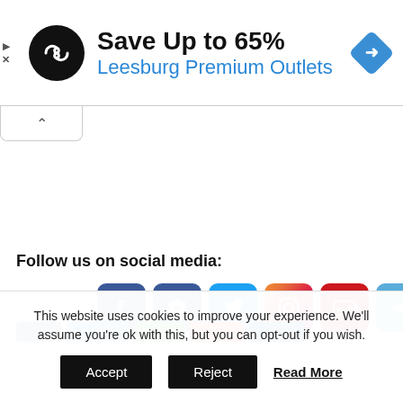[Figure (infographic): Advertisement banner: black circular logo with infinity-like symbol, text 'Save Up to 65%' in bold black, 'Leesburg Premium Outlets' in blue, blue navigation diamond icon on right, play and close icons on far left]
[Figure (infographic): Collapse/minimize tab button with upward chevron arrow]
Follow us on social media:
[Figure (infographic): Row of 7 social media icons: Facebook, MySpace/Groups, Twitter, Instagram, YouTube, Telegram, Email]
[Figure (infographic): Row of colored share/follow buttons (blue, blue, green, red, blue)]
This website uses cookies to improve your experience. We'll assume you're ok with this, but you can opt-out if you wish.
Accept   Reject   Read More